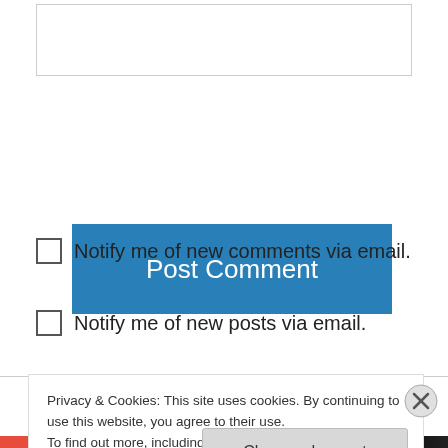[Figure (screenshot): Empty textarea input box for comment]
Post Comment
Notify me of new comments via email.
Notify me of new posts via email.
E. J. Barnes on March 28, 2014 at 10:33 am
Guess the Children don't mind giving their hard
Privacy & Cookies: This site uses cookies. By continuing to use this website, you agree to their use.
To find out more, including how to control cookies, see here: Cookie Policy
Close and accept